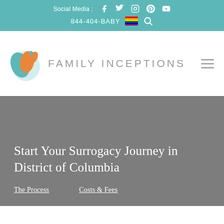Social Media : [Facebook] [Twitter] [Instagram] [Pinterest] [YouTube]
844-404-BABY 🏳️‍🌈 🔍
[Figure (logo): Family Inceptions logo: teal and orange leaf/plant icon with text FAMILY INCEPTIONS in gray uppercase letters]
Start Your Surrogacy Journey in District of Columbia
The Process   Costs & Fees